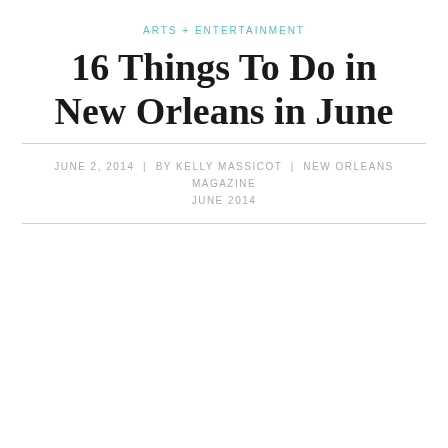ARTS + ENTERTAINMENT
16 Things To Do in New Orleans in June
JUNE 2, 2014  |  BY KELLY MASSICOT  |  NEW ORLEANS MAGAZINE JUNE 2014